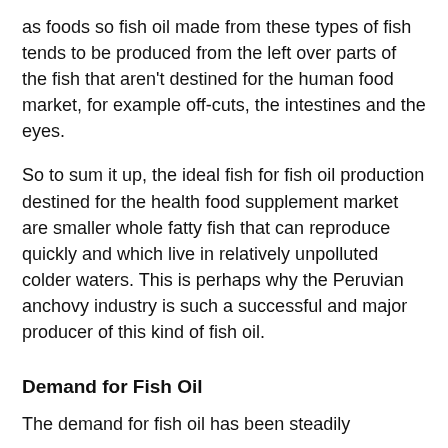as foods so fish oil made from these types of fish tends to be produced from the left over parts of the fish that aren't destined for the human food market, for example off-cuts, the intestines and the eyes.
So to sum it up, the ideal fish for fish oil production destined for the health food supplement market are smaller whole fatty fish that can reproduce quickly and which live in relatively unpolluted colder waters. This is perhaps why the Peruvian anchovy industry is such a successful and major producer of this kind of fish oil.
Demand for Fish Oil
The demand for fish oil has been steadily